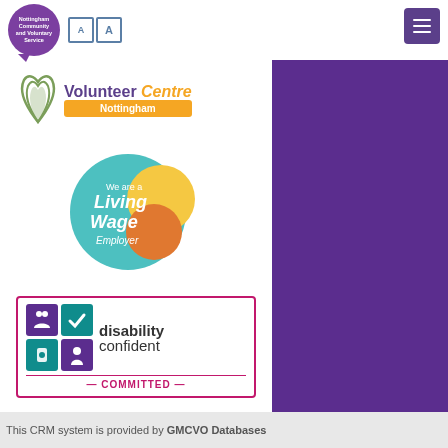[Figure (logo): Nottingham Community and Voluntary Service circular purple logo with speech bubble tail]
[Figure (logo): Text accessibility AA buttons with blue border]
[Figure (logo): Purple hamburger menu button]
[Figure (logo): Volunteer Centre Nottingham logo with orange bar]
[Figure (logo): We are a Living Wage Employer circular badge with teal, yellow and orange overlapping circles]
[Figure (logo): Disability Confident Committed badge with purple and teal icons]
This CRM system is provided by GMCVO Databases